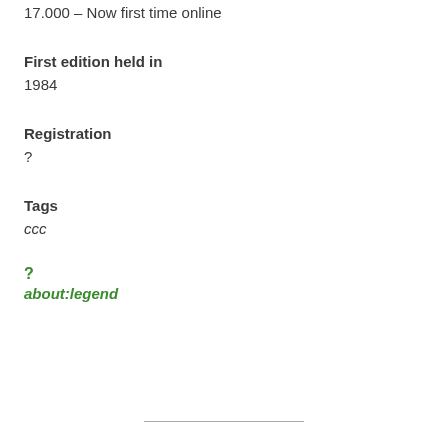17.000 – Now first time online
First edition held in
1984
Registration
?
Tags
ccc
?
about:legend